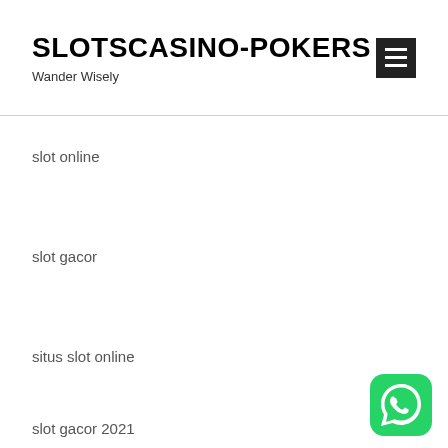SLOTSCASINO-POKERS
Wander Wisely
slot online
slot gacor
situs slot online
slot gacor 2021
[Figure (logo): WhatsApp floating button icon, green background with white phone handset symbol]